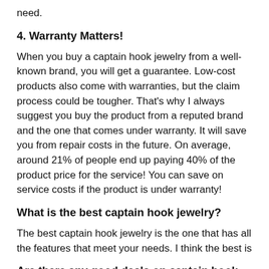need.
4. Warranty Matters!
When you buy a captain hook jewelry from a well-known brand, you will get a guarantee. Low-cost products also come with warranties, but the claim process could be tougher. That's why I always suggest you buy the product from a reputed brand and the one that comes under warranty. It will save you from repair costs in the future. On average, around 21% of people end up paying 40% of the product price for the service! You can save on service costs if the product is under warranty!
What is the best captain hook jewelry?
The best captain hook jewelry is the one that has all the features that meet your needs. I think the best is
Are there any good deals on captain hook jewelry?
In the offline market, you won't find many offers. However, I